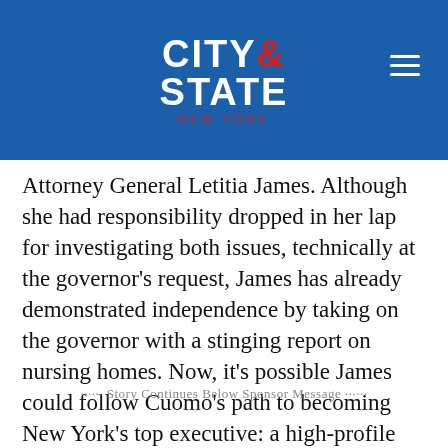CITY & STATE NEW YORK
Attorney General Letitia James. Although she had responsibility dropped in her lap for investigating both issues, technically at the governor’s request, James has already demonstrated independence by taking on the governor with a stinging report on nursing homes. Now, it’s possible James could follow Cuomo’s path to becoming New York’s top executive: a high-profile look into the governor's alleged misdeeds.
······ Story Continues Below Sponsor Message ······